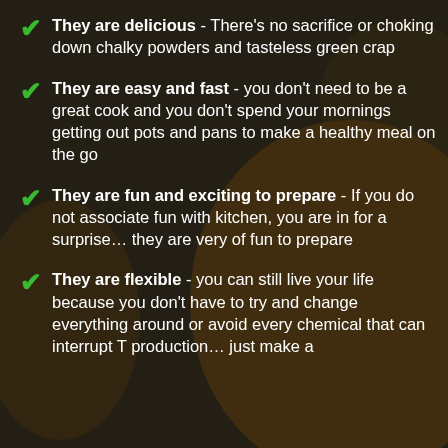They are delicious - There's no sacrifice or choking down chalky powders and tasteless green crap
They are easy and fast - you don't need to be a great cook and you don't spend your mornings getting out pots and pans to make a healthy meal on the go
They are fun and exciting to prepare - If you do not associate fun with kitchen, you are in for a surprise… they are very of fun to prepare
They are flexible - you can still live your life because you don't have to try and change everything around or avoid every chemical that can interrupt T production… just make a